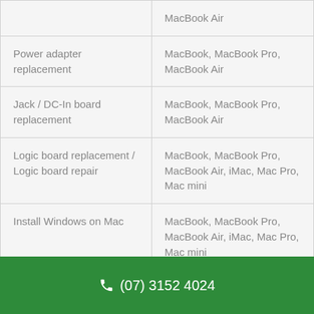| [partial row] | MacBook Air |
| Power adapter replacement | MacBook, MacBook Pro, MacBook Air |
| Jack / DC-In board replacement | MacBook, MacBook Pro, MacBook Air |
| Logic board replacement / Logic board repair | MacBook, MacBook Pro, MacBook Air, iMac, Mac Pro, Mac mini |
| Install Windows on Mac | MacBook, MacBook Pro, MacBook Air, iMac, Mac Pro, Mac mini |
(07) 3152 4024